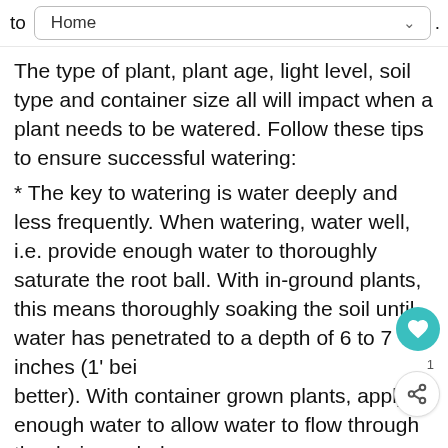to  Home
The type of plant, plant age, light level, soil type and container size all will impact when a plant needs to be watered. Follow these tips to ensure successful watering:
* The key to watering is water deeply and less frequently. When watering, water well, i.e. provide enough water to thoroughly saturate the root ball. With in-ground plants, this means thoroughly soaking the soil until water has penetrated to a depth of 6 to 7 inches (1' being better). With container grown plants, apply enough water to allow water to flow through the drainage holes.
* Try to water plants early in the day or later in